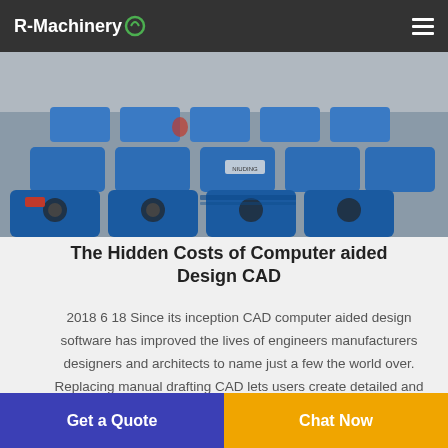R-Machinery
[Figure (photo): Rows of blue industrial machinery/generators in a factory warehouse setting]
The Hidden Costs of Computer aided Design CAD
2018 6 18 Since its inception CAD computer aided design software has improved the lives of engineers manufacturers designers and architects to name just a few the world over. Replacing manual drafting CAD lets users create detailed and precise renderings of parts and components with ease all